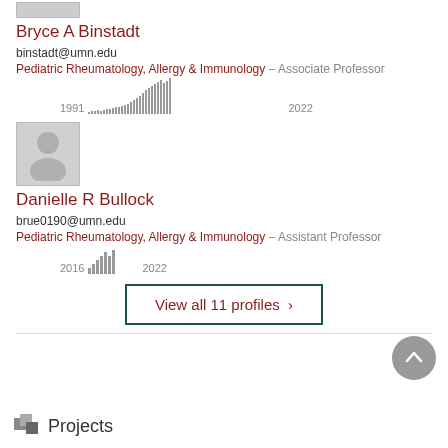[Figure (photo): Placeholder profile photo thumbnail (partially visible at top)]
Bryce A Binstadt
binstadt@umn.edu
Pediatric Rheumatology, Allergy & Immunology – Associate Professor
[Figure (bar-chart): Publication timeline 1991–2022]
[Figure (photo): Placeholder profile photo thumbnail for Danielle R Bullock]
Danielle R Bullock
brue0190@umn.edu
Pediatric Rheumatology, Allergy & Immunology – Assistant Professor
[Figure (bar-chart): Publication timeline 2016–2022]
View all 11 profiles ›
Projects